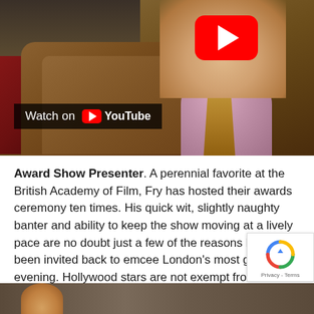[Figure (screenshot): YouTube video thumbnail showing a man in a brown corduroy jacket with a pink shirt and tie, with a large red YouTube play button in the upper right. At the bottom of the thumbnail is a 'Watch on YouTube' overlay bar with the YouTube logo.]
Award Show Presenter. A perennial favorite at the British Academy of Film, Fry has hosted their awards ceremony ten times. His quick wit, slightly naughty banter and ability to keep the show moving at a lively pace are no doubt just a few of the reasons he has been invited back to emcee London's most glittering evening. Hollywood stars are not exempt from Stephen's playful jibes as this opening speech from the 2006 event demonstrates.
[Figure (screenshot): Partial view of another YouTube video thumbnail at the bottom of the page.]